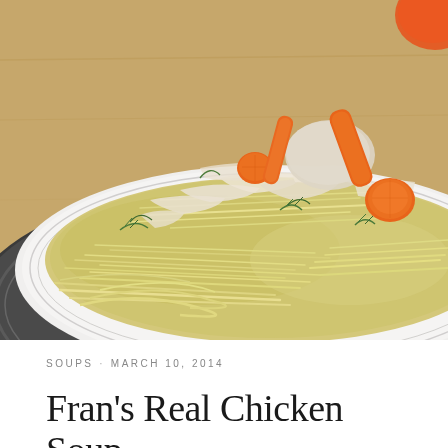[Figure (photo): Close-up photo of a bowl of chicken noodle soup with shredded chicken, egg noodles, carrot slices, and fresh dill in a clear golden broth, served in a white bowl with a decorative rim, placed on a dark charger plate on a wooden surface.]
SOUPS   MARCH 10, 2014
Fran's Real Chicken Soup